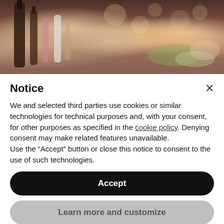[Figure (photo): Blurred photo of bar bottles, mixers, and garnishes on a counter top]
Notice
We and selected third parties use cookies or similar technologies for technical purposes and, with your consent, for other purposes as specified in the cookie policy. Denying consent may make related features unavailable.
Use the “Accept” button or close this notice to consent to the use of such technologies.
Accept
Learn more and customize